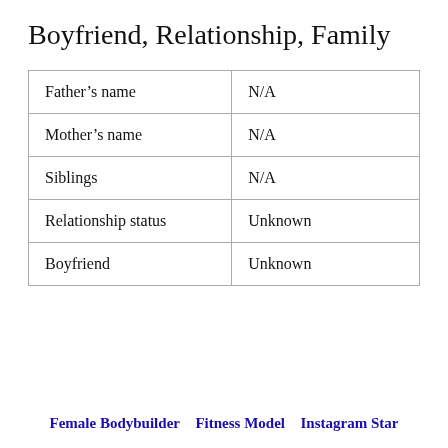Boyfriend, Relationship, Family
| Father’s name | N/A |
| Mother’s name | N/A |
| Siblings | N/A |
| Relationship status | Unknown |
| Boyfriend | Unknown |
Female Bodybuilder  Fitness Model  Instagram Star